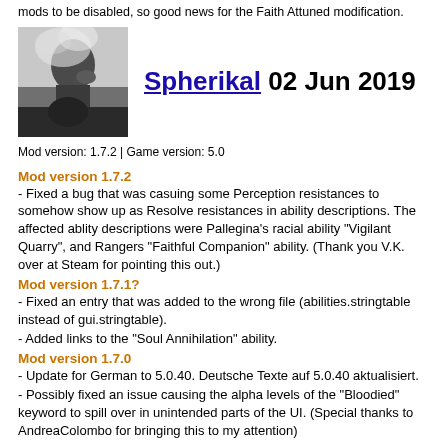mods to be disabled, so good news for the Faith Attuned modification.
[Figure (photo): Black and white photo of a person with their hand raised near their face, partially obscured by smoke or blur.]
Spherikal 02 Jun 2019
Mod version: 1.7.2 | Game version: 5.0
Mod version 1.7.2
- Fixed a bug that was casuing some Perception resistances to somehow show up as Resolve resistances in ability descriptions. The affected ablity descriptions were Pallegina's racial ability "Vigilant Quarry", and Rangers "Faithful Companion" ability. (Thank you V.K. over at Steam for pointing this out.)
Mod version 1.7.1?
- Fixed an entry that was added to the wrong file (abilities.stringtable instead of gui.stringtable).
- Added links to the "Soul Annihilation" ability.
Mod version 1.7.0
- Update for German to 5.0.40. Deutsche Texte auf 5.0.40 aktualisiert.
- Possibly fixed an issue causing the alpha levels of the "Bloodied" keyword to spill over in unintended parts of the UI. (Special thanks to AndreaColombo for bringing this to my attention)